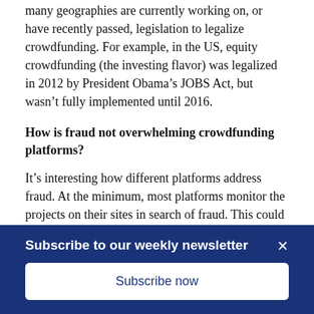many geographies are currently working on, or have recently passed, legislation to legalize crowdfunding. For example, in the US, equity crowdfunding (the investing flavor) was legalized in 2012 by President Obama’s JOBS Act, but wasn’t fully implemented until 2016.
How is fraud not overwhelming crowdfunding platforms?
It’s interesting how different platforms address fraud. At the minimum, most platforms monitor the projects on their sites in search of fraud. This could be a cursory sweep of submitted crowdfunding projects or could entail requiring lots of identifying documentation to ensure projects are legit. Interestingly, the crowd itself has proven to be pretty
Subscribe to our weekly newsletter
Subscribe now